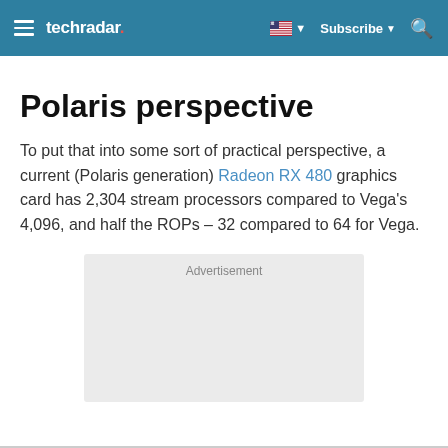techradar — Subscribe
Polaris perspective
To put that into some sort of practical perspective, a current (Polaris generation) Radeon RX 480 graphics card has 2,304 stream processors compared to Vega's 4,096, and half the ROPs – 32 compared to 64 for Vega.
[Figure (other): Advertisement placeholder box]